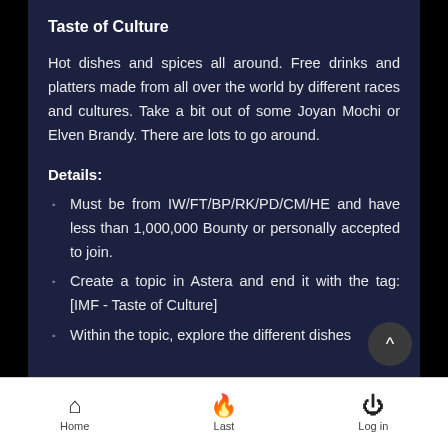Taste of Culture
Hot dishes and spices all around. Free drinks and platters made from all over the world by different races and cultures. Take a bit out of some Joyan Mochi or Elven Brandy. There are lots to go around.
Details:
Must be from IW/FT/BP/RK/PD/CM/HE and have less than 1,000,000 Bounty or personally accepted to join.
Create a topic in Astera and end it with the tag: [IMF - Taste of Culture]
Within the topic, explore the different dishes
Home  Last  Log in